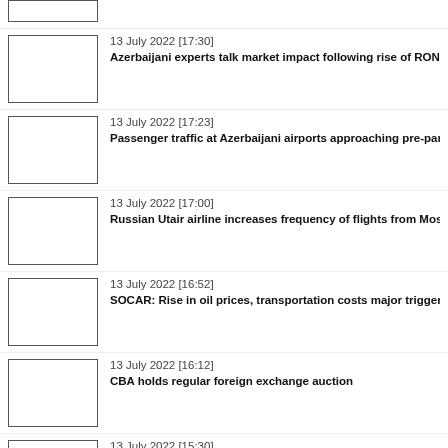[Figure (photo): News thumbnail image (partial, top-cropped)]
13 July 2022 [17:30]
Azerbaijani experts talk market impact following rise of RON-9
[Figure (photo): News thumbnail image]
13 July 2022 [17:23]
Passenger traffic at Azerbaijani airports approaching pre-pand
[Figure (photo): News thumbnail image]
13 July 2022 [17:00]
Russian Utair airline increases frequency of flights from Mosc
[Figure (photo): News thumbnail image]
13 July 2022 [16:52]
SOCAR: Rise in oil prices, transportation costs major triggers
[Figure (photo): News thumbnail image]
13 July 2022 [16:12]
CBA holds regular foreign exchange auction
[Figure (photo): News thumbnail image (partial, bottom-cropped)]
13 July 2022 [15:30]